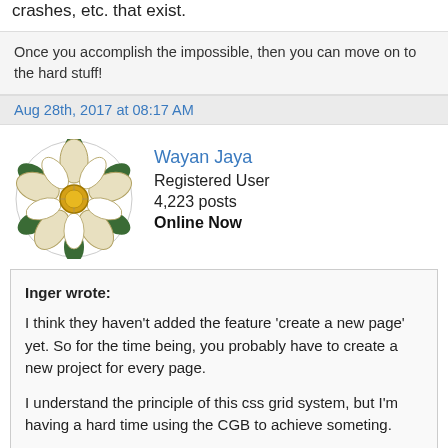crashes, etc. that exist.
Once you accomplish the impossible, then you can move on to the hard stuff!
Aug 28th, 2017 at 08:17 AM
[Figure (illustration): Circular heraldic rose badge avatar with white and green petals and yellow center]
Wayan Jaya
Registered User
4,223 posts
Online Now
Inger wrote:
I think they haven't added the feature 'create a new page' yet. So for the time being, you probably have to create a new project for every page.

I understand the principle of this css grid system, but I'm having a hard time using the CGB to achieve someting.